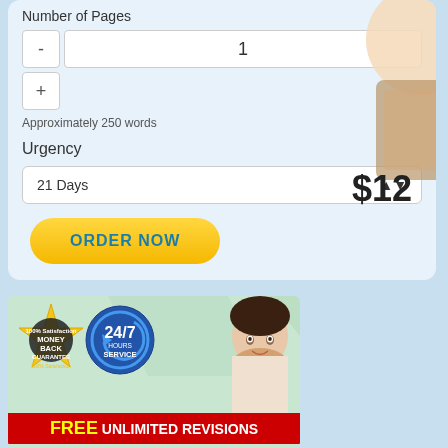Number of Pages
1
Approximately 250 words
Urgency
21 Days
$12
ORDER NOW
[Figure (infographic): Promotional banner showing money back guarantee badge, 24/7 hours service badge, woman smiling, and FREE UNLIMITED REVISIONS text at bottom]